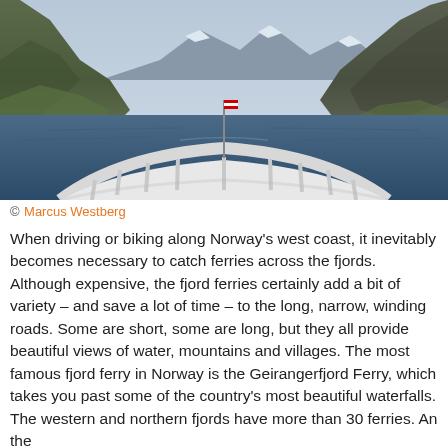[Figure (photo): View from the bow of a ferry traveling through a Norwegian fjord, with steep mountains on both sides, snow-capped peaks in the background, calm blue water, and the green-topped white bow railing of the ferry in the foreground.]
© Marcus Westberg
When driving or biking along Norway's west coast, it inevitably becomes necessary to catch ferries across the fjords. Although expensive, the fjord ferries certainly add a bit of variety – and save a lot of time – to the long, narrow, winding roads. Some are short, some are long, but they all provide beautiful views of water, mountains and villages. The most famous fjord ferry in Norway is the Geirangerfjord Ferry, which takes you past some of the country's most beautiful waterfalls. The western and northern fjords have more than 30 ferries. An the...